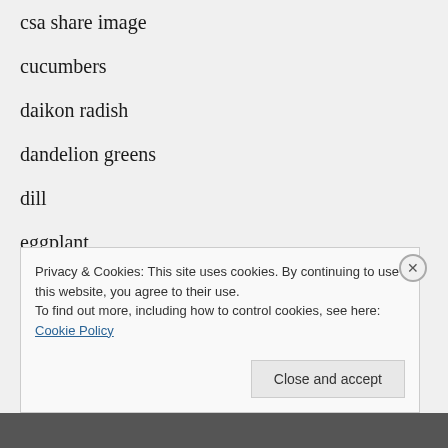csa share image
cucumbers
daikon radish
dandelion greens
dill
eggplant
eggs
Energize
Privacy & Cookies: This site uses cookies. By continuing to use this website, you agree to their use.
To find out more, including how to control cookies, see here: Cookie Policy
Close and accept